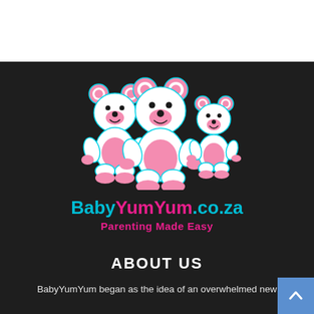[Figure (logo): BabyYumYum.co.za logo with three cartoon teddy bears (pink and white) and text 'BabyYumYum.co.za Parenting Made Easy']
ABOUT US
BabyYumYum began as the idea of an overwhelmed new